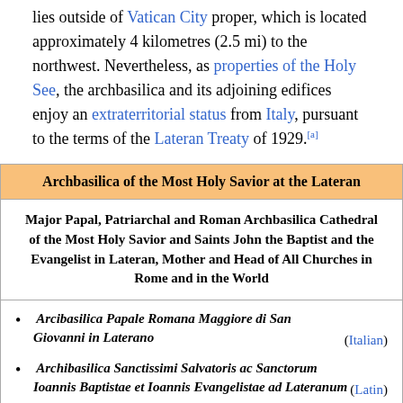lies outside of Vatican City proper, which is located approximately 4 kilometres (2.5 mi) to the northwest. Nevertheless, as properties of the Holy See, the archbasilica and its adjoining edifices enjoy an extraterritorial status from Italy, pursuant to the terms of the Lateran Treaty of 1929.[a]
| Archbasilica of the Most Holy Savior at the Lateran |
| --- |
| Major Papal, Patriarchal and Roman Archbasilica Cathedral of the Most Holy Savior and Saints John the Baptist and the Evangelist in Lateran, Mother and Head of All Churches in Rome and in the World |
| • Arcibasilica Papale Romana Maggiore di San Giovanni in Laterano (Italian)
• Archibasilica Sanctissimi Salvatoris ac Sanctorum Ioannis Baptistae et Ioannis Evangelistae ad Lateranum (Latin) |